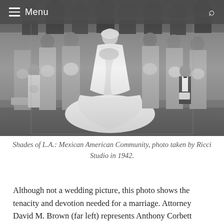≡ Menu
[Figure (photo): Black and white vintage wedding photo showing a bride in a large white gown with a long train, surrounded by bridesmaids holding bouquets, a flower girl on the left, and a young boy in a tuxedo on the right. Rows of wedding guests visible in the background. Shades of L.A.: Mexican American Community, photo taken by Ricci Studio in 1942.]
Shades of L.A.: Mexican American Community, photo taken by Ricci Studio in 1942.
Although not a wedding picture, this photo shows the tenacity and devotion needed for a marriage. Attorney David M. Brown (far left) represents Anthony Corbett